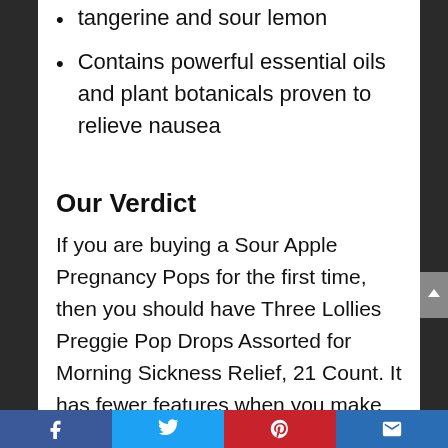tangerine and sour lemon
Contains powerful essential oils and plant botanicals proven to relieve nausea
Our Verdict
If you are buying a Sour Apple Pregnancy Pops for the first time, then you should have Three Lollies Preggie Pop Drops Assorted for Morning Sickness Relief, 21 Count. It has fewer features when you make Sour Apple Pregnancy Pops comparisons of Three Lollies Preggie Pop Drops Assorted for Morning